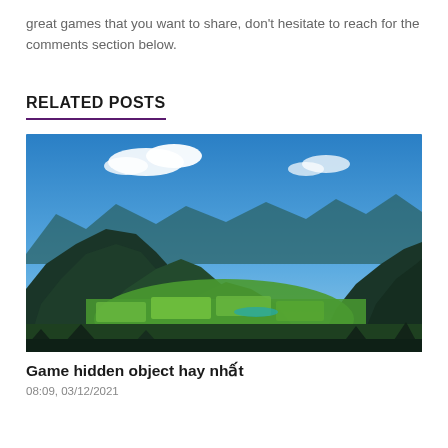great games that you want to share, don't hesitate to reach for the comments section below.
RELATED POSTS
[Figure (photo): Panoramic landscape photograph of green valleys and karst mountains under a blue sky with clouds, likely in Vietnam.]
Game hidden object hay nhất
08:09, 03/12/2021